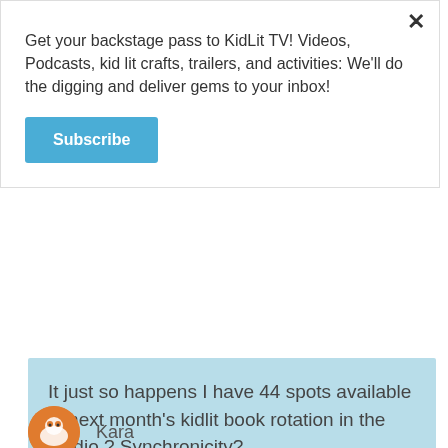Get your backstage pass to KidLit TV! Videos, Podcasts, kid lit crafts, trailers, and activities: We’ll do the digging and deliver gems to your inbox!
Subscribe
It just so happens I have 44 spots available in next month’s kidlit book rotation in the studio.? Synchronicity?
Reply
Kara